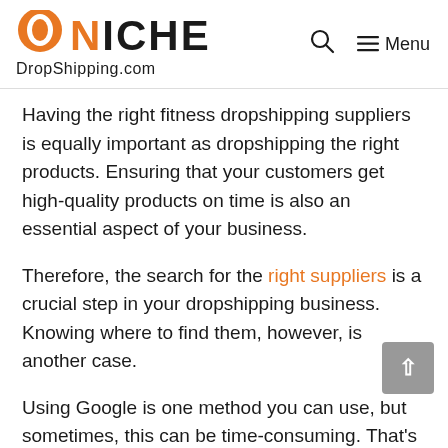NICHE DropShipping.com
Having the right fitness dropshipping suppliers is equally important as dropshipping the right products. Ensuring that your customers get high-quality products on time is also an essential aspect of your business.
Therefore, the search for the right suppliers is a crucial step in your dropshipping business. Knowing where to find them, however, is another case.
Using Google is one method you can use, but sometimes, this can be time-consuming. That's why we've provided a list of reliable suppliers...